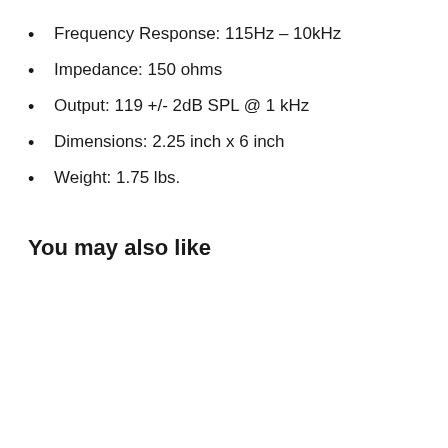Frequency Response: 115Hz – 10kHz
Impedance: 150 ohms
Output: 119 +/- 2dB SPL @ 1 kHz
Dimensions: 2.25 inch x 6 inch
Weight: 1.75 lbs.
You may also like